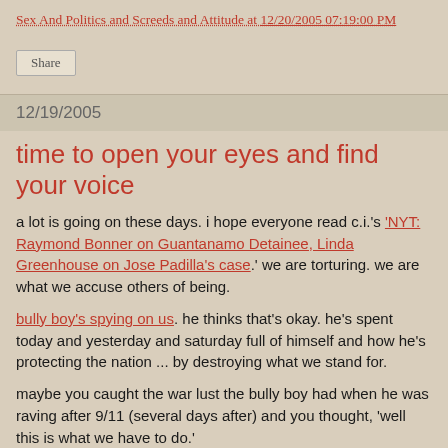Sex And Politics and Screeds and Attitude at 12/20/2005 07:19:00 PM
Share
12/19/2005
time to open your eyes and find your voice
a lot is going on these days. i hope everyone read c.i.'s 'NYT: Raymond Bonner on Guantanamo Detainee, Linda Greenhouse on Jose Padilla's case.' we are torturing. we are what we accuse others of being.
bully boy's spying on us. he thinks that's okay. he's spent today and yesterday and saturday full of himself and how he's protecting the nation ... by destroying what we stand for.
maybe you caught the war lust the bully boy had when he was raving after 9/11 (several days after) and you thought, 'well this is what we have to do.'